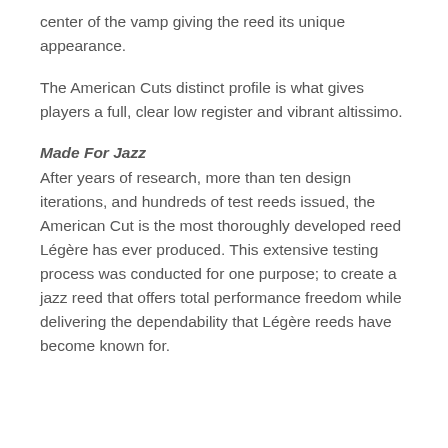center of the vamp giving the reed its unique appearance.
The American Cuts distinct profile is what gives players a full, clear low register and vibrant altissimo.
Made For Jazz
After years of research, more than ten design iterations, and hundreds of test reeds issued, the American Cut is the most thoroughly developed reed Légère has ever produced. This extensive testing process was conducted for one purpose; to create a jazz reed that offers total performance freedom while delivering the dependability that Légère reeds have become known for.